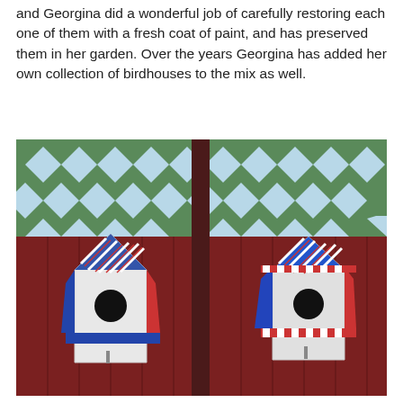and Georgina did a wonderful job of carefully restoring each one of them with a fresh coat of paint, and has preserved them in her garden. Over the years Georgina has added her own collection of birdhouses to the mix as well.
[Figure (photo): Photograph of two decorative birdhouses mounted on a dark red wooden fence. Each birdhouse has a pointed roof decorated with blue and red/white stripes in a patriotic style, and a white body with a circular entry hole. Behind the fence is a green diamond-pattern lattice trellis against a light blue sky.]